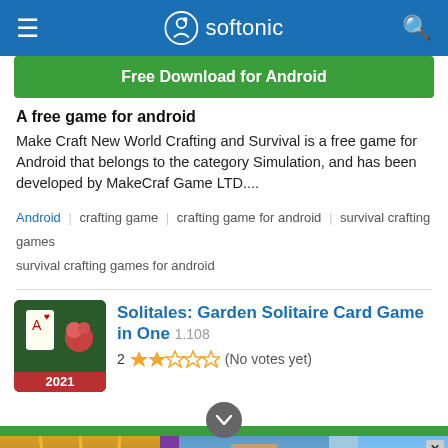softonic
Free Download for Android
A free game for android
Make Craft New World Crafting and Survival is a free game for Android that belongs to the category Simulation, and has been developed by MakeCraf Game LTD....
Android | crafting game | crafting game for android | survival crafting games survival crafting games for android
Solitales: Garden Solitaire Card Game in One 1.108
2 ★★☆☆☆ (No votes yet)
[Figure (screenshot): Advertisement banner with three game thumbnails: Mine Rope Rescue, Super Run Craft, and Pinata Craft]